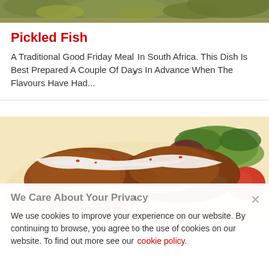[Figure (photo): Top portion of a food dish image, partially cropped, showing green and brown food items on a plate.]
Pickled Fish
A Traditional Good Friday Meal In South Africa. This Dish Is Best Prepared A Couple Of Days In Advance When The Flavours Have Had...
[Figure (photo): Photo of fried fish pieces topped with a white creamy sauce and red pepper flakes, served with green salad leaves and tomatoes.]
We Care About Your Privacy
We use cookies to improve your experience on our website. By continuing to browse, you agree to the use of cookies on our website. To find out more see our cookie policy.